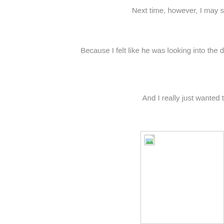Next time, however, I may s
Because I felt like he was looking into the d
And I really just wanted t
[Figure (photo): A partially visible image with a broken image icon in the top-left corner, bordered by a thin gray rectangle.]